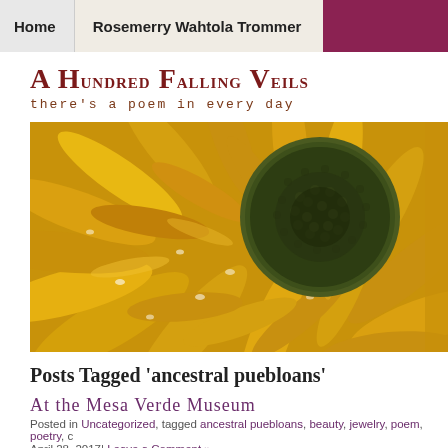Home | Rosemerry Wahtola Trommer
A Hundred Falling Veils
there's a poem in every day
[Figure (photo): Close-up photograph of a sunflower with bright yellow petals and a green/dark center, water droplets visible on the petals]
Posts Tagged ‘ancestral puebloans’
At the Mesa Verde Museum
Posted in Uncategorized, tagged ancestral puebloans, beauty, jewelry, poem, poetry, c
April 28, 2017| Leave a Comment »